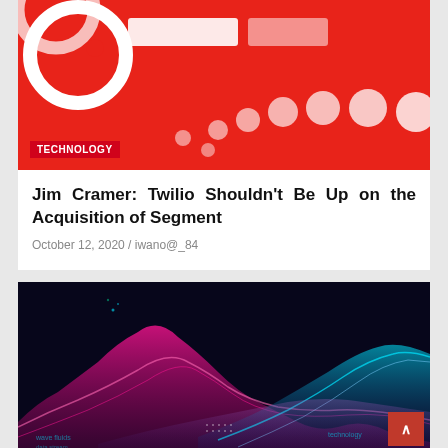[Figure (photo): Twilio logo on red background with white circles pattern. A red 'TECHNOLOGY' tag label overlaid at bottom left.]
Jim Cramer: Twilio Shouldn't Be Up on the Acquisition of Segment
October 12, 2020 / iwano@_84
[Figure (illustration): Digital data visualization with colorful glowing wave forms in pink, magenta, and blue/cyan on a dark background, resembling 3D terrain or frequency waves. Small UI text overlays visible. A red back-to-top arrow button in the lower right corner.]